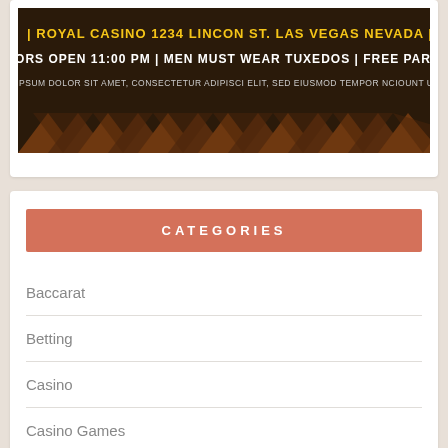[Figure (illustration): Casino promotional banner with dark background and geometric pattern. Text reads: | ROYAL CASINO 1234 LINCON ST. LAS VEGAS NEVADA | | DOORS OPEN 11:00 PM | MEN MUST WEAR TUXEDOS | FREE PARKING | | LOREM IPSUM DOLOR SIT AMET, CONSECTETUR ADIPISCI ELIT, SED EIUSMOD TEMPOR NCIOUNT UT LABORE |]
CATEGORIES
Baccarat
Betting
Casino
Casino Games
Gambling